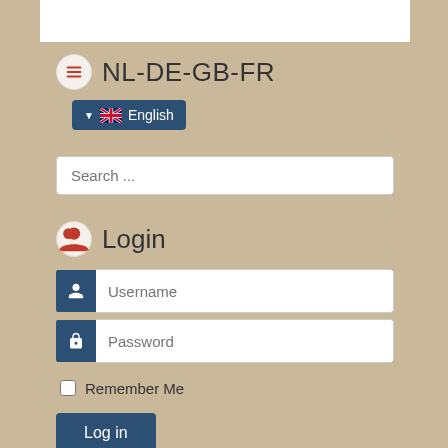NL-DE-GB-FR
English (language selector button)
Search ...
Login
Username
Password
Remember Me
Log in
Forgot your username?
Forgot your password?